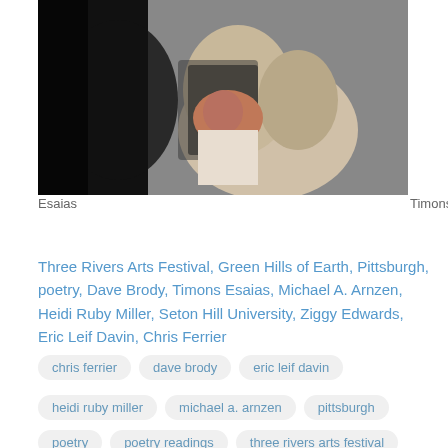[Figure (photo): A person in a white shirt holding a book or folder, photographed in a dark setting]
Timons Esaias
Three Rivers Arts Festival, Green Hills of Earth, Pittsburgh, poetry, Dave Brody, Timons Esaias, Michael A. Arnzen, Heidi Ruby Miller, Seton Hill University, Ziggy Edwards, Eric Leif Davin, Chris Ferrier
chris ferrier
dave brody
eric leif davin
heidi ruby miller
michael a. arnzen
pittsburgh
poetry
poetry readings
three rivers arts festival